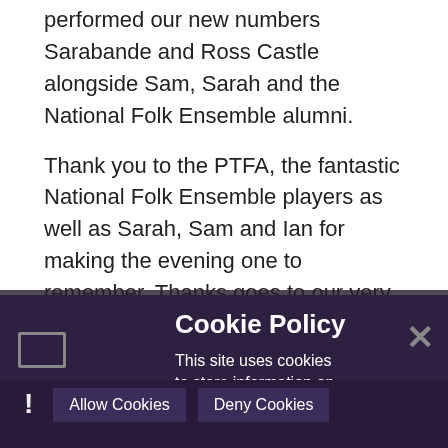performed our new numbers Sarabande and Ross Castle alongside Sam, Sarah and the National Folk Ensemble alumni.
Thank you to the PTFA, the fantastic National Folk Ensemble players as well as Sarah, Sam and Ian for making the evening one to remember. Thanks goes to our very own folk extraordinaire Matt Laurie who led the HVC folk ensemble and worked with them to
achieve their excellent performance. The HVC re... may be... watch this space!
Cookie Policy
This site uses cookies to store information on your computer. Click here for more information
Allow Cookies   Deny Cookies